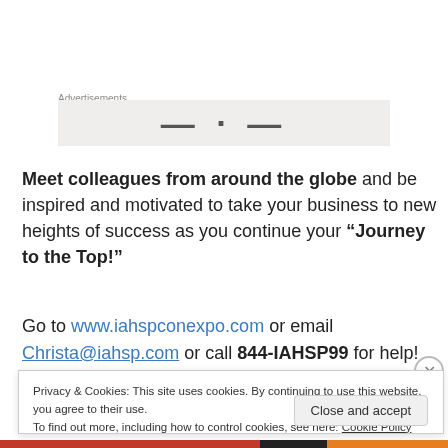Advertisements
[Figure (other): Advertisement banner placeholder with dark bold text on light gray background]
Meet colleagues from around the globe and be inspired and motivated to take your business to new heights of success as you continue your “Journey to the Top!”
Go to www.iahspconexpo.com or email Christa@iahsp.com or call 844-IAHSP99 for help!
Privacy & Cookies: This site uses cookies. By continuing to use this website, you agree to their use. To find out more, including how to control cookies, see here: Cookie Policy
Close and accept